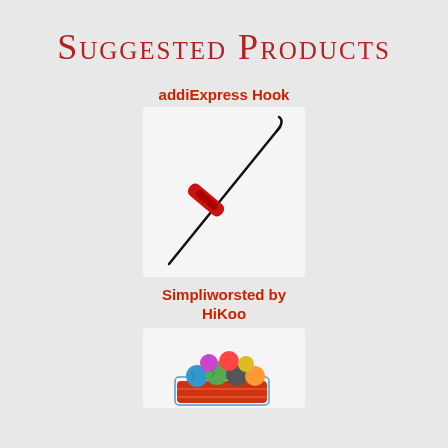Suggested Products
addiExpress Hook
[Figure (photo): Red addiExpress crochet hook tool on white background]
Simpliworsted by HiKoo
[Figure (photo): Basket of colorful yarn balls on white background]